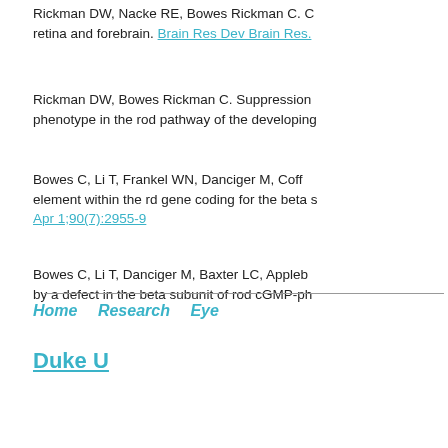Rickman DW, Nacke RE, Bowes Rickman C. C... retina and forebrain. Brain Res Dev Brain Res.
Rickman DW, Bowes Rickman C. Suppression... phenotype in the rod pathway of the developing...
Bowes C, Li T, Frankel WN, Danciger M, Coff... element within the rd gene coding for the beta s... Apr 1;90(7):2955-9
Bowes C, Li T, Danciger M, Baxter LC, Appleb... by a defect in the beta subunit of rod cGMP-ph...
Home   Research   Eye...
Duke U...